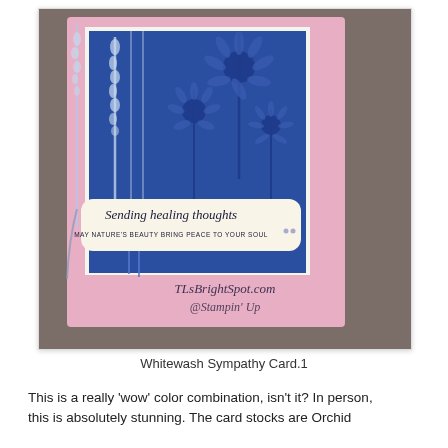[Figure (photo): A handmade sympathy card with a pink cardstock background. On top is a blue panel with whitewashed floral stamping showing coneflowers and grass/lavender stems. A cream-colored banner across the middle reads 'Sending healing thoughts' in script and 'MAY NATURE'S BEAUTY BRING PEACE TO YOUR SOUL' in block text. Two small dots appear on the right. A watermark at the bottom reads 'TLsBrightSpot.com' and '@Stampin Up'. The card is photographed on a brown textured surface.]
Whitewash Sympathy Card.1
This is a really 'wow' color combination, isn't it? In person, this is absolutely stunning. The card stocks are Orchid